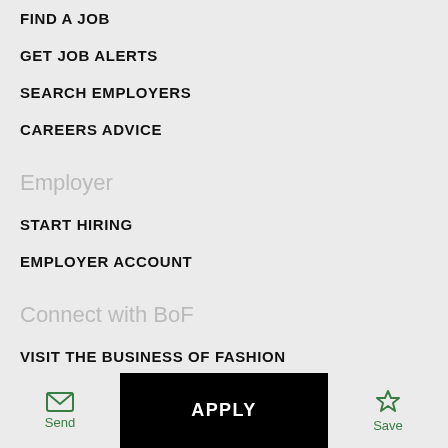FIND A JOB
GET JOB ALERTS
SEARCH EMPLOYERS
CAREERS ADVICE
Employer
START HIRING
EMPLOYER ACCOUNT
Connect with BoF
VISIT THE BUSINESS OF FASHION
[Figure (other): Social media icons: Facebook, Twitter, LinkedIn, Instagram, YouTube, RSS]
Send   APPLY   Save